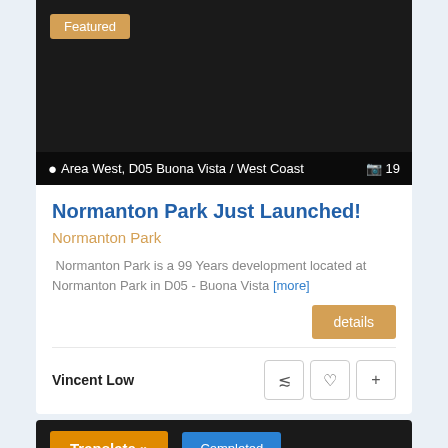[Figure (photo): Dark/black property listing image with Featured badge and location footer showing Area West, D05 Buona Vista / West Coast and photo count 19]
Normanton Park Just Launched!
Normanton Park
Normanton Park is a 99 Years development located at Normanton Park in D05 - Buona Vista [more]
details
Vincent Low
[Figure (screenshot): Bottom dark card with Translate » button in orange and Completed button in blue]